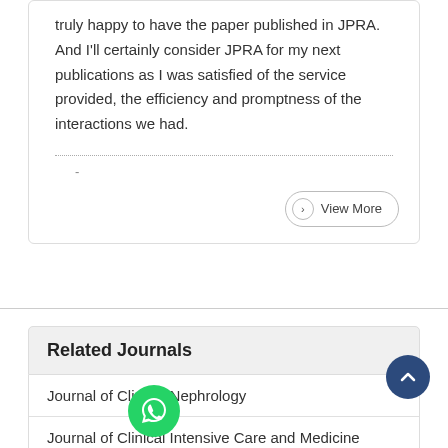truly happy to have the paper published in JPRA. And I'll certainly consider JPRA for my next publications as I was satisfied of the service provided, the efficiency and promptness of the interactions we had.
-
View More
Related Journals
Journal of Clinical Nephrology
Journal of Clinical Intensive Care and Medicine
Advanced Treatments in ENT Disorders
Archives of Clinical and Experimental Orthopaedics